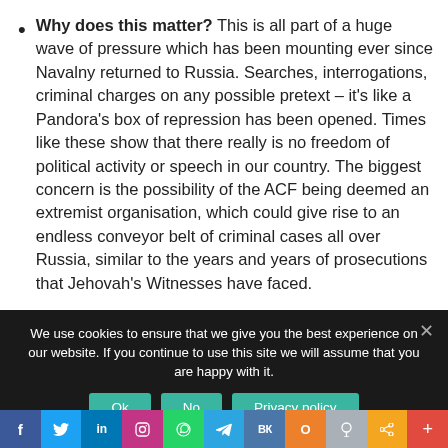Why does this matter? This is all part of a huge wave of pressure which has been mounting ever since Navalny returned to Russia. Searches, interrogations, criminal charges on any possible pretext – it's like a Pandora's box of repression has been opened. Times like these show that there really is no freedom of political activity or speech in our country. The biggest concern is the possibility of the ACF being deemed an extremist organisation, which could give rise to an endless conveyor belt of criminal cases all over Russia, similar to the years and years of prosecutions that Jehovah's Witnesses have faced.
We use cookies to ensure that we give you the best experience on our website. If you continue to use this site we will assume that you are happy with it.
[Figure (infographic): Social sharing bar with icons for Facebook, Twitter, LinkedIn, Instagram, WhatsApp, Telegram, VK, Odnoklassniki, and other sharing options]